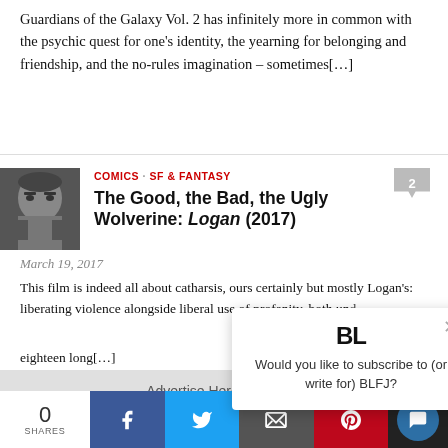Guardians of the Galaxy Vol. 2 has infinitely more in common with the psychic quest for one's identity, the yearning for belonging and friendship, and the no-rules imagination – sometimes[...]
COMICS · SF & FANTASY
The Good, the Bad, the Ugly Wolverine: Logan (2017)
March 19, 2017
This film is indeed all about catharsis, ours certainly but mostly Logan's: liberating violence alongside liberal use of profanity, both und… eighteen long[...]
[Figure (photo): Thumbnail photo of Wolverine/Logan character, grayscale portrait]
Advertise Here
Would you like to subscribe to (or write for) BLFJ?